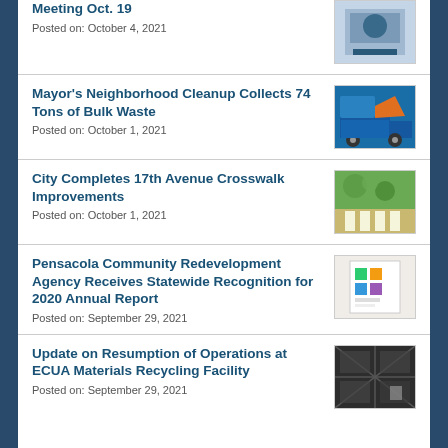Meeting Oct. 19
Posted on: October 4, 2021
Mayor's Neighborhood Cleanup Collects 74 Tons of Bulk Waste
Posted on: October 1, 2021
City Completes 17th Avenue Crosswalk Improvements
Posted on: October 1, 2021
Pensacola Community Redevelopment Agency Receives Statewide Recognition for 2020 Annual Report
Posted on: September 29, 2021
Update on Resumption of Operations at ECUA Materials Recycling Facility
Posted on: September 29, 2021